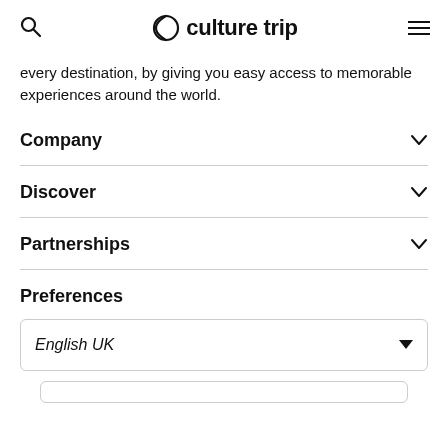culture trip
every destination, by giving you easy access to memorable experiences around the world.
Company
Discover
Partnerships
Preferences
English UK